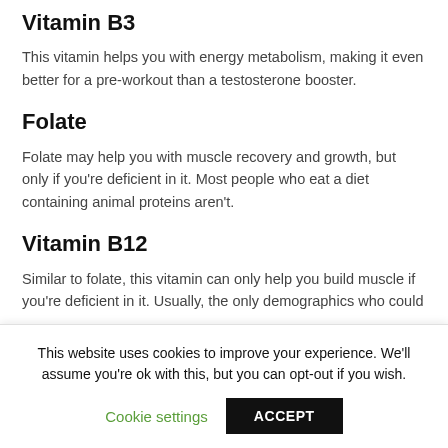Vitamin B3
This vitamin helps you with energy metabolism, making it even better for a pre-workout than a testosterone booster.
Folate
Folate may help you with muscle recovery and growth, but only if you're deficient in it. Most people who eat a diet containing animal proteins aren't.
Vitamin B12
Similar to folate, this vitamin can only help you build muscle if you're deficient in it. Usually, the only demographics who could
This website uses cookies to improve your experience. We'll assume you're ok with this, but you can opt-out if you wish.
Cookie settings    ACCEPT